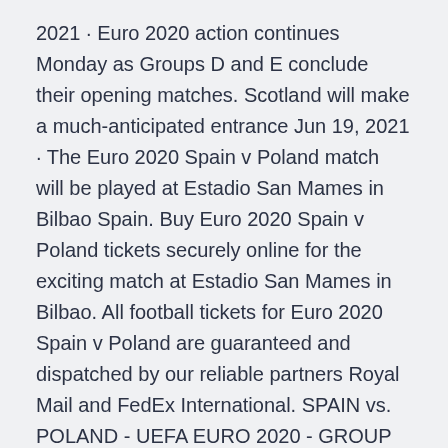2021 · Euro 2020 action continues Monday as Groups D and E conclude their opening matches. Scotland will make a much-anticipated entrance Jun 19, 2021 · The Euro 2020 Spain v Poland match will be played at Estadio San Mames in Bilbao Spain. Buy Euro 2020 Spain v Poland tickets securely online for the exciting match at Estadio San Mames in Bilbao. All football tickets for Euro 2020 Spain v Poland are guaranteed and dispatched by our reliable partners Royal Mail and FedEx International. SPAIN vs. POLAND - UEFA EURO 2020 - GROUP STAGE - FIFA 21 (FULL GAMEPLAY)Watch the simulations of the UEFA EURO 2020 matches right here on Ved710.
Matches Matches Group B. Finland